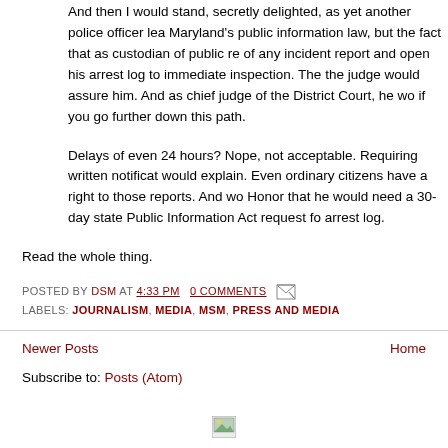And then I would stand, secretly delighted, as yet another police officer lea Maryland's public information law, but the fact that as custodian of public re of any incident report and open his arrest log to immediate inspection. The the judge would assure him. And as chief judge of the District Court, he wo if you go further down this path.
Delays of even 24 hours? Nope, not acceptable. Requiring written notificat would explain. Even ordinary citizens have a right to those reports. And wo Honor that he would need a 30-day state Public Information Act request fo arrest log.
Read the whole thing.
POSTED BY DSM AT 4:33 PM   0 COMMENTS
LABELS: JOURNALISM, MEDIA, MSM, PRESS AND MEDIA
Newer Posts   Home
Subscribe to: Posts (Atom)